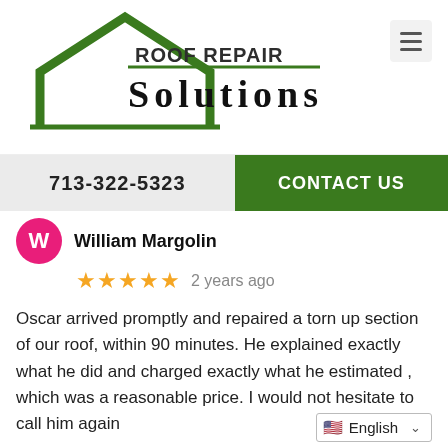[Figure (logo): Roof Repair Solutions logo with green house/roof outline and company name]
713-322-5323
CONTACT US
William Margolin
★★★★★ 2 years ago
Oscar arrived promptly and repaired a torn up section of our roof, within 90 minutes. He explained exactly what he did and charged exactly what he estimated , which was a reasonable price. I would not hesitate to call him again
English